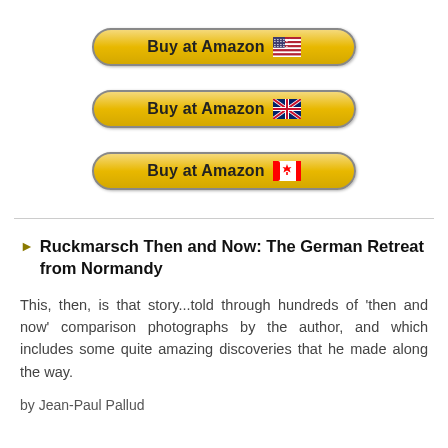[Figure (other): Three Amazon buy buttons with US flag, UK flag, and Canadian flag respectively]
Ruckmarsch Then and Now: The German Retreat from Normandy
This, then, is that story...told through hundreds of 'then and now' comparison photographs by the author, and which includes some quite amazing discoveries that he made along the way.
by Jean-Paul Pallud